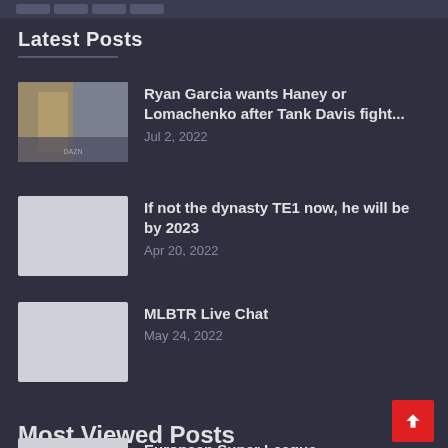Navigation bar (top)
Latest Posts
Ryan Garcia wants Haney or Lomachenko after Tank Davis fight... — Jul 2, 2022
If not the dynasty TE1 now, he will be by 2023 — Apr 20, 2022
MLBTR Live Chat — May 24, 2022
Most Viewed Posts
European Super League proposed to 'relaunch'